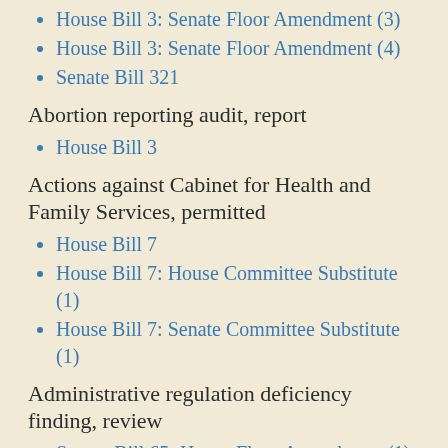House Bill 3: Senate Floor Amendment (3)
House Bill 3: Senate Floor Amendment (4)
Senate Bill 321
Abortion reporting audit, report
House Bill 3
Actions against Cabinet for Health and Family Services, permitted
House Bill 7
House Bill 7: House Committee Substitute (1)
House Bill 7: Senate Committee Substitute (1)
Administrative regulation deficiency finding, review
Senate Bill 65: House Floor Amendment (1)
House Bill 337
Carrying concealed deadly weapons, all locations, authorization
House Bill 336: Senate Floor Amendment (2)